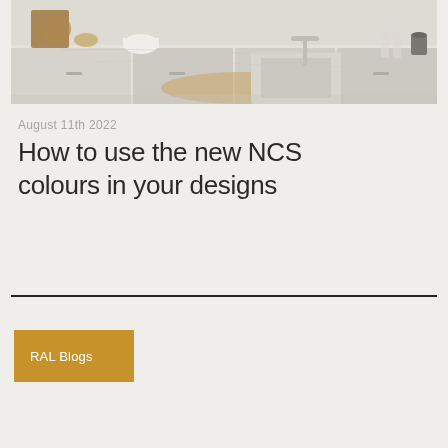[Figure (photo): Kitchen interior photo showing white cabinets, marble backsplash, wooden cutting boards, sink with faucet, and glassware on counter]
August 11th 2022
How to use the new NCS colours in your designs
RAL Blogs